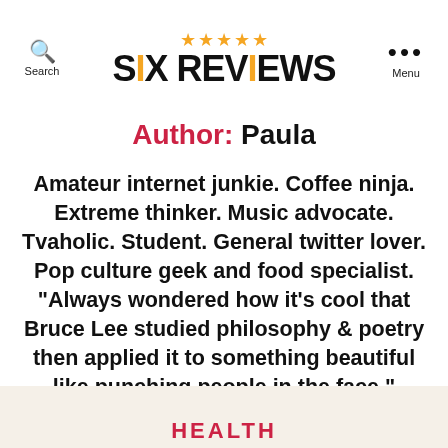SiX REViEWS
Author: Paula
Amateur internet junkie. Coffee ninja. Extreme thinker. Music advocate. Tvaholic. Student. General twitter lover. Pop culture geek and food specialist. "Always wondered how it's cool that Bruce Lee studied philosophy & poetry then applied it to something beautiful like punching people in the face."
HEALTH